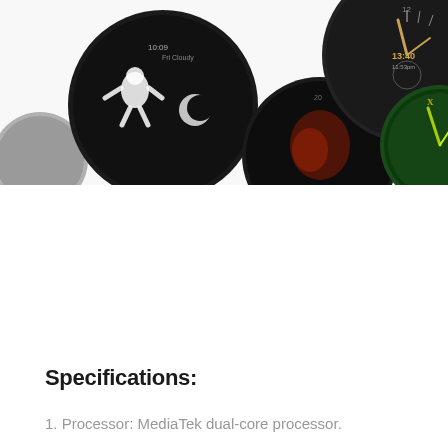[Figure (photo): A collection of smartwatch faces displayed on circular watch displays. Includes: an astronaut themed black face, a space-themed black face with red accents, a dark elegant face with gold hands, a partially visible grey face, a black face with a moon/space scene, and a green face with Roman numerals. The background is white. A small yellow-green corner accent is visible top right.]
Specifications:
1.  Processor: MediaTek dual-core processor.